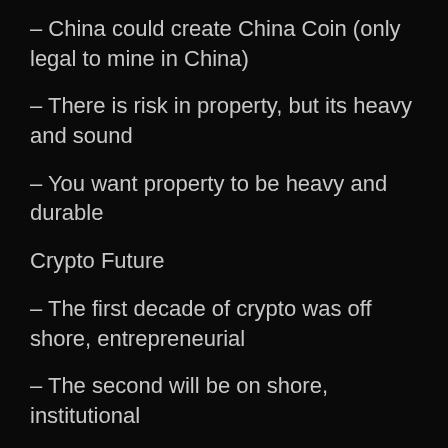– China could create China Coin (only legal to mine in China)
– There is risk in property, but its heavy and sound
– You want property to be heavy and durable
Crypto Future
– The first decade of crypto was off shore, entrepreneurial
– The second will be on shore, institutional
– We are in the middle, and will be there for 3-5 years
– Cobie (summarizing): “you buy Bitcoin